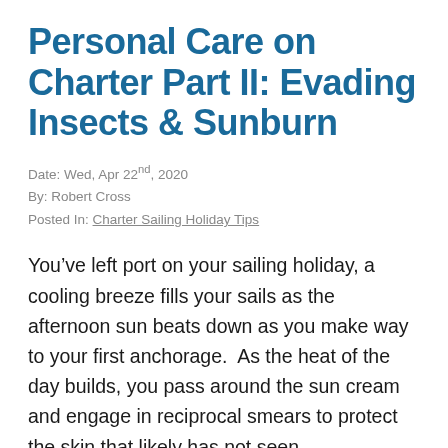Personal Care on Charter Part II: Evading Insects & Sunburn
Date: Wed, Apr 22nd, 2020
By: Robert Cross
Posted In: Charter Sailing Holiday Tips
You’ve left port on your sailing holiday, a cooling breeze fills your sails as the afternoon sun beats down as you make way to your first anchorage.  As the heat of the day builds, you pass around the sun cream and engage in reciprocal smears to protect the skin that likely has not seen...